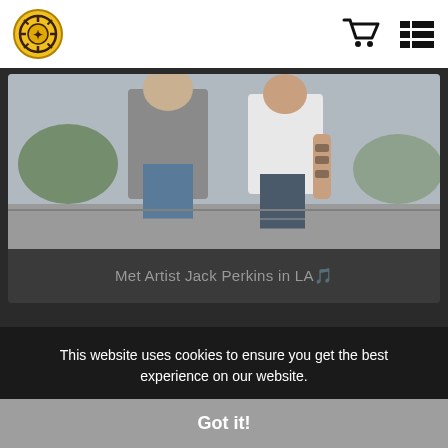Website header with logo and navigation icons
[Figure (photo): Two people standing outside on a sunny day; one wearing a gray t-shirt and one in a white button-up shirt with tattoos on arm]
Met Artist Jack Perkins in LA🎵
[Figure (photo): Interior corridor or hallway viewed from below, showing ceiling beams and lighting]
This website uses cookies to ensure you get the best experience on our website.
Got it!